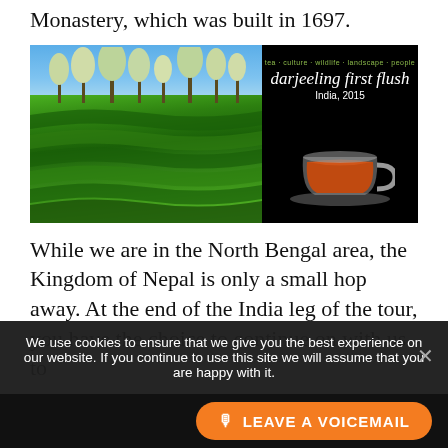Monastery, which was built in 1697.
[Figure (photo): Left half: tea plantation with rows of green tea bushes on a hillside, trees and blue sky in background. Right half: black background with text 'tea · culture · wildlife · landscape · people / darjeeling first flush / India, 2015' and a glass cup of red/amber tea.]
While we are in the North Bengal area, the Kingdom of Nepal is only a small hop away. At the end of the India leg of the tour, you have the choice to continue on with us to
We use cookies to ensure that we give you the best experience on our website. If you continue to use this site we will assume that you are happy with it.
LEAVE A VOICEMAIL